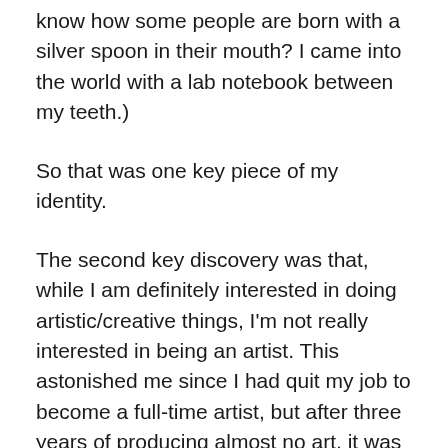know how some people are born with a silver spoon in their mouth? I came into the world with a lab notebook between my teeth.)
So that was one key piece of my identity.
The second key discovery was that, while I am definitely interested in doing artistic/creative things, I'm not really interested in being an artist. This astonished me since I had quit my job to become a full-time artist, but after three years of producing almost no art, it was pretty undeniable. Okay, being Board President at the San Jose Museum of Quilts and Textiles ate almost two years of my life, and I was setting up a business for most of the rest of the time, but still, if being an artist was a huge fire in my belly, I'd have come up with some way to do it. From